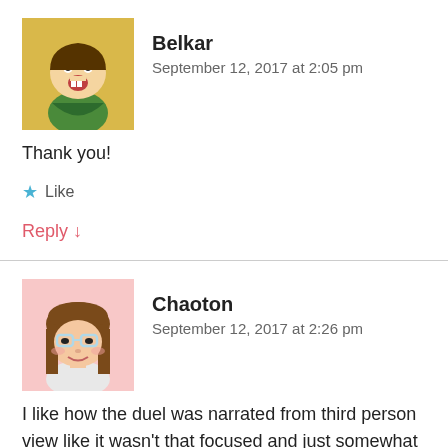[Figure (illustration): Avatar of Belkar: cartoon character with cape, open mouth, on yellow background]
Belkar
September 12, 2017 at 2:05 pm
Thank you!
★ Like
Reply ↓
[Figure (illustration): Avatar of Chaoton: cartoon girl with brown hair, glasses, on pink/white background]
Chaoton
September 12, 2017 at 2:26 pm
I like how the duel was narrated from third person view like it wasn't that focused and just somewhat happened because we all know the result anyway. It gave me some distant and lonely feeling on how Daizos live would be in